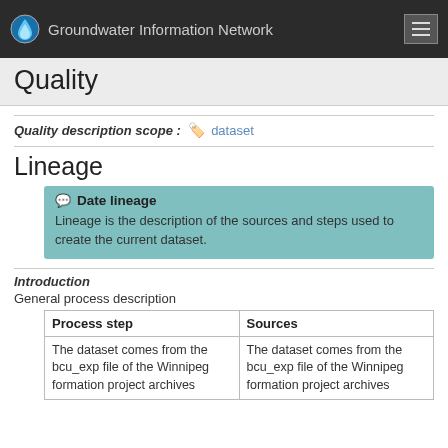Groundwater Information Network
Quality
Quality description scope : dataset
Lineage
Date lineage
Lineage is the description of the sources and steps used to create the current dataset.
Introduction
General process description
| Process step | Sources |
| --- | --- |
| The dataset comes from the bcu_exp file of the Winnipeg formation project archives | The dataset comes from the bcu_exp file of the Winnipeg formation project archives |